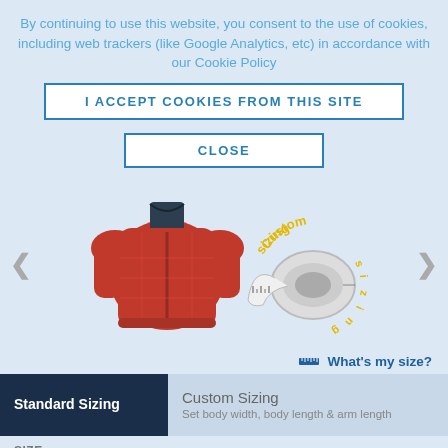By continuing to use this website, you consent to the use of cookies, including web trackers (like Google Analytics, etc) in accordance with our Cookie Policy
I ACCEPT COOKIES FROM THIS SITE
CLOSE
[Figure (photo): Red quilted down jacket on a mannequin]
[Figure (photo): Tape measure roll with 'Custom sizing' text in yellow arc around it]
What's my size?
| Standard Sizing | Custom Sizing |
| --- | --- |
|  | Set body width, body length & arm length |
SIZE